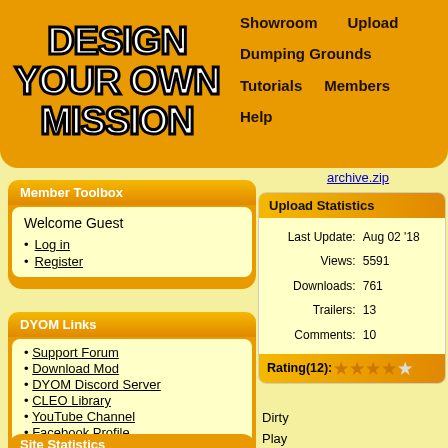[Figure (logo): Design Your Own Mission logo with bold white text on orange background]
Showroom   Upload
Dumping Grounds
Tutorials   Members
Help
Member Toolbox
Welcome Guest
Log in
Register
DYOM Links
Support Forum
Download Mod
DYOM Discord Server
CLEO Library
YouTube Channel
Facebook Profile
Site Statistics
archive.zip
Upload Statistics
Last Update:  Aug 02 '18
Views:  5591
Downloads:  761
Trailers:  13
Comments:  10
Rating(12): ★★★★☆
Dirty
Play
6.
Wanted
7.
Angry
Bird
8.
Find